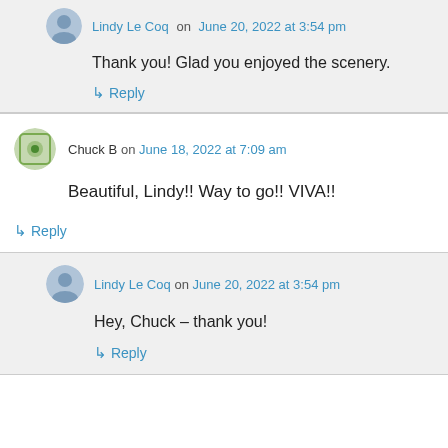Lindy Le Coq on June 20, 2022 at 3:54 pm
Thank you! Glad you enjoyed the scenery.
↳ Reply
Chuck B on June 18, 2022 at 7:09 am
Beautiful, Lindy!! Way to go!! VIVA!!
↳ Reply
Lindy Le Coq on June 20, 2022 at 3:54 pm
Hey, Chuck – thank you!
↳ Reply